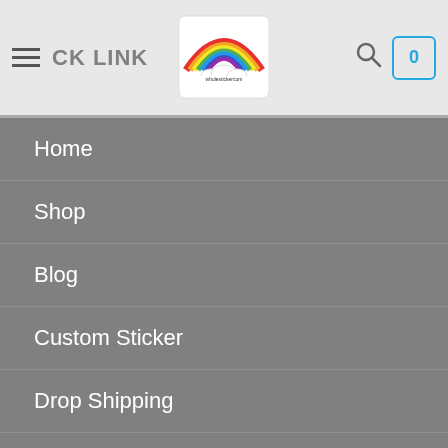QUICK LINK
[Figure (logo): Rainbow sticker store logo with rainbow arc over a cloud]
Home
Shop
Blog
Custom Sticker
Drop Shipping
Privacy Policy
HELP
FAQs
Account